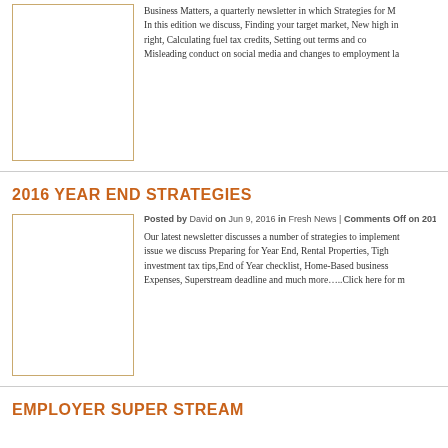Business Matters, a quarterly newsletter in which Strategies for M... In this edition we discuss, Finding your target market, New high in right, Calculating fuel tax credits, Setting out terms and co... Misleading conduct on social media and changes to employment la...
2016 YEAR END STRATEGIES
Posted by David on Jun 9, 2016 in Fresh News | Comments Off on 2016 Y...
Our latest newsletter discusses a number of strategies to implement... issue we discuss Preparing for Year End, Rental Properties, Tigh... investment tax tips,End of Year checklist, Home-Based business... Expenses, Superstream deadline and much more…..Click here for m...
EMPLOYER SUPER STREAM